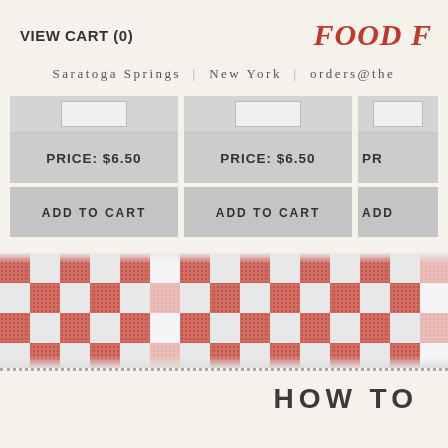VIEW CART (0)
FOOD F
Saratoga Springs | New York | orders@the
PRICE: $6.50
ADD TO CART
PRICE: $6.50
ADD TO CART
PR
ADD
[Figure (illustration): Red and white checkered tablecloth pattern banner]
HOW TO